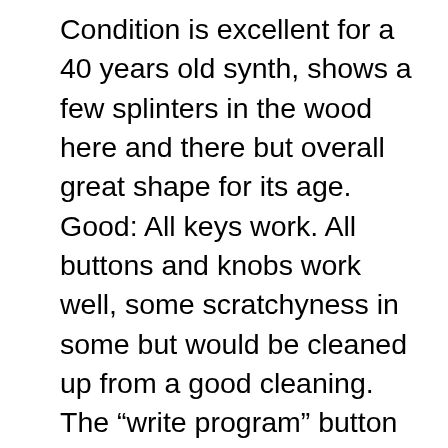Condition is excellent for a 40 years old synth, shows a few splinters in the wood here and there but overall great shape for its age. Good: All keys work. All buttons and knobs work well, some scratchyness in some but would be cleaned up from a good cleaning. The “write program” button doesnt seam to work but maybe Im missing something.. Not so good: tested it out on a tuner last night, the lower two octaves show about from 5-10 cents flat, one was closer to 15 on the tuner, seems to be on par with a synth this old from what I hear but being the bass notes its harder to hear the pitch being out.. I would assume some capacitors on the synth probably need to be changed now or in the future due to its age, which might “tighten” it up. The headphone out works